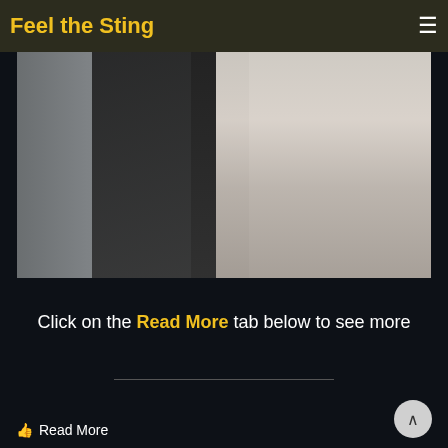Feel the Sting
[Figure (photo): Two people in a room with lockers in the background]
Click on the Read More tab below to see more
Read More